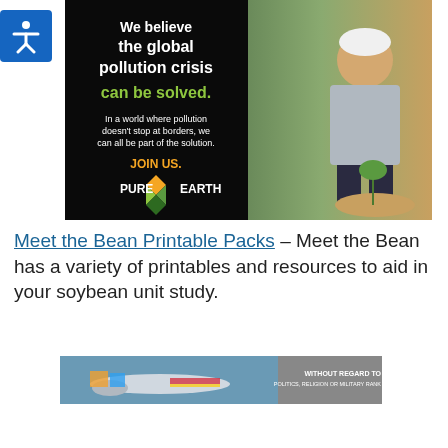[Figure (illustration): Pure Earth advertisement banner with black background left side showing text 'We believe the global pollution crisis can be solved.' in white and green, 'JOIN US.' in orange, Pure Earth logo, and right side showing a man in white hard hat planting a seedling outdoors.]
Meet the Bean Printable Packs – Meet the Bean has a variety of printables and resources to aid in your soybean unit study.
[Figure (photo): Advertisement banner showing a cargo airplane being loaded with freight, with text 'WITHOUT REGARD TO POLITICS, RELIGION OR MILITARY RANK' on grey panel on the right.]